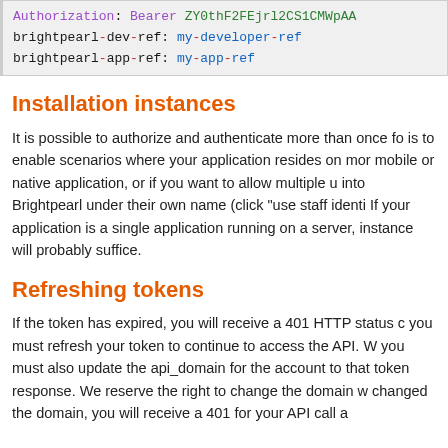Authorization: Bearer ZY0thF2FEjrl2CS1CMWpAA
brightpearl-dev-ref: my-developer-ref
brightpearl-app-ref: my-app-ref
Installation instances
It is possible to authorize and authenticate more than once fo is to enable scenarios where your application resides on mor mobile or native application, or if you want to allow multiple u into Brightpearl under their own name (click "use staff identi If your application is a single application running on a server, instance will probably suffice.
Refreshing tokens
If the token has expired, you will receive a 401 HTTP status c you must refresh your token to continue to access the API. W you must also update the api_domain for the account to that token response. We reserve the right to change the domain w changed the domain, you will receive a 401 for your API call a